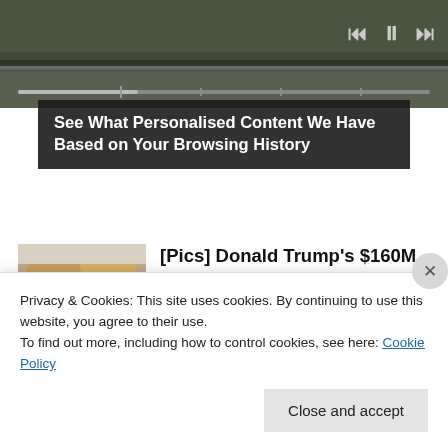[Figure (screenshot): Top media player area with dark landscape background photo and playback controls (previous, pause, next) on the right, and a progress bar at the bottom]
See What Personalised Content We Have Based on Your Browsing History
[Figure (photo): Thumbnail photo of a woman and a man (Donald Trump) side by side]
[Pics] Donald Trump's $160M Home Is Gorgeous, But You'll Never Expect This Inside
BuzzAura
[Figure (screenshot): Dark thumbnail image for second article about Camp Lejeune Water]
Camp Lejeune Water
Privacy & Cookies: This site uses cookies. By continuing to use this website, you agree to their use.
To find out more, including how to control cookies, see here: Cookie Policy
Close and accept